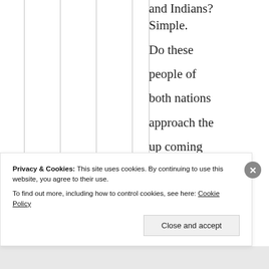and Indians? Simple.

Do these people of both nations approach the up coming war with joy and pleasure b/c they
Privacy & Cookies: This site uses cookies. By continuing to use this website, you agree to their use. To find out more, including how to control cookies, see here: Cookie Policy
Close and accept